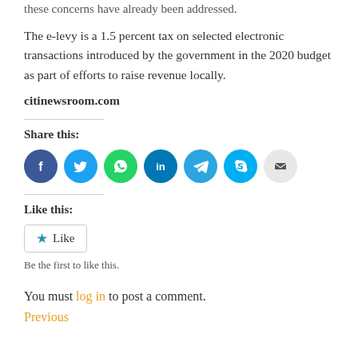these concerns have already been addressed.
The e-levy is a 1.5 percent tax on selected electronic transactions introduced by the government in the 2020 budget as part of efforts to raise revenue locally.
citinewsroom.com
Share this:
[Figure (infographic): Row of social media share icons: Facebook (blue), Twitter (light blue), WhatsApp (green), LinkedIn (dark blue), Telegram (blue), Skype (light blue), Email (gray)]
Like this:
[Figure (other): Like button with star icon and 'Like' label]
Be the first to like this.
You must log in to post a comment.
Previous